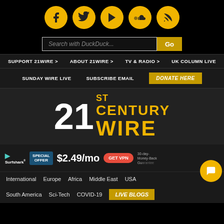[Figure (logo): 21st Century Wire website header with social media icons (Facebook, Twitter, YouTube, SoundCloud, RSS), DuckDuckGo search bar, navigation menus, and the 21st Century Wire logo]
Search with DuckDuck...
Go
SUPPORT 21WIRE >
ABOUT 21WIRE >
TV & RADIO >
UK COLUMN LIVE
SUNDAY WIRE LIVE
SUBSCRIBE EMAIL
DONATE HERE
21st CENTURY WIRE
[Figure (infographic): Surfshark VPN advertisement banner showing SPECIAL OFFER $2.49/mo GET VPN with 30-day Money-Back Guarantee]
International
Europe
Africa
Middle East
USA
South America
Sci-Tech
COVID-19
LIVE BLOGS